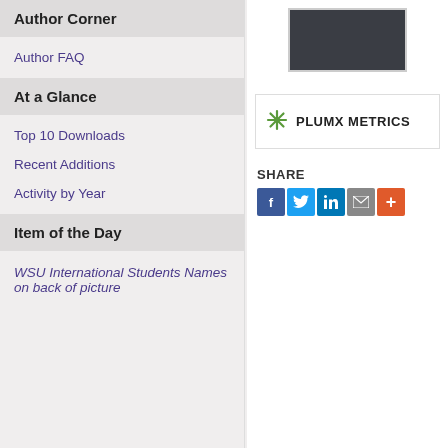Author Corner
Author FAQ
At a Glance
Top 10 Downloads
Recent Additions
Activity by Year
Item of the Day
WSU International Students Names on back of picture
[Figure (photo): Dark/black thumbnail image preview]
[Figure (logo): PlumX Metrics logo with asterisk star icon and text PLUMX METRICS]
SHARE
[Figure (infographic): Share buttons: Facebook (blue), Twitter (light blue), LinkedIn (dark blue), Email (gray), More (orange)]